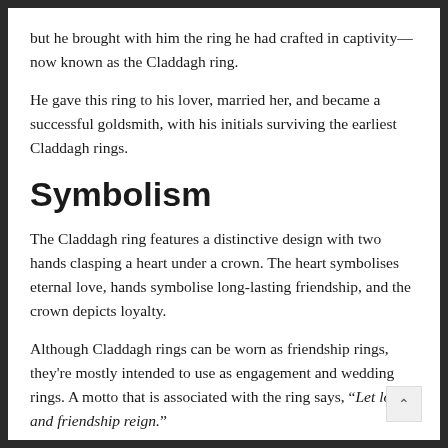but he brought with him the ring he had crafted in captivity—now known as the Claddagh ring.
He gave this ring to his lover, married her, and became a successful goldsmith, with his initials surviving the earliest Claddagh rings.
Symbolism
The Claddagh ring features a distinctive design with two hands clasping a heart under a crown. The heart symbolises eternal love, hands symbolise long-lasting friendship, and the crown depicts loyalty.
Although Claddagh rings can be worn as friendship rings, they're mostly intended to use as engagement and wedding rings. A motto that is associated with the ring says, “Let love and friendship reign.”
B... Irish Claddagh (partial, cut off at bottom)